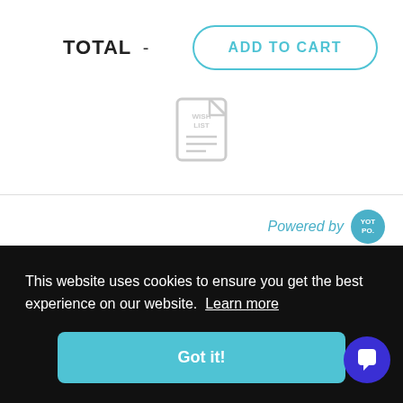TOTAL  -
ADD TO CART
[Figure (illustration): Wish list icon — a notepad/list document icon in light gray]
Powered by YOTPO
[Figure (illustration): Five empty star rating icons in a row]
0 Reviews
This website uses cookies to ensure you get the best experience on our website. Learn more
Got it!